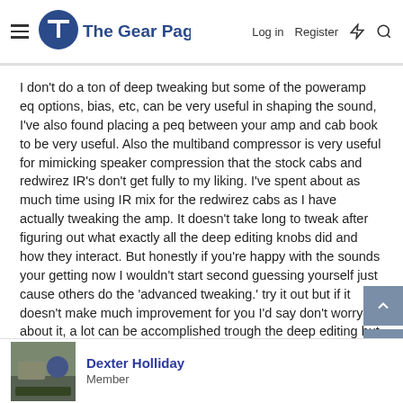The Gear Page — Log in  Register
I don't do a ton of deep tweaking but some of the poweramp eq options, bias, etc, can be very useful in shaping the sound, I've also found placing a peq between your amp and cab book to be very useful. Also the multiband compressor is very useful for mimicking speaker compression that the stock cabs and redwirez IR's don't get fully to my liking. I've spent about as much time using IR mix for the redwirez cabs as I have actually tweaking the amp. It doesn't take long to tweak after figuring out what exactly all the deep editing knobs did and how they interact. But honestly if you're happy with the sounds your getting now I wouldn't start second guessing yourself just cause others do the 'advanced tweaking.' try it out but if it doesn't make much improvement for you I'd say don't worry about it, a lot can be accomplished trough the deep editing but it kills the fun for some.
Dexter Holliday
Member